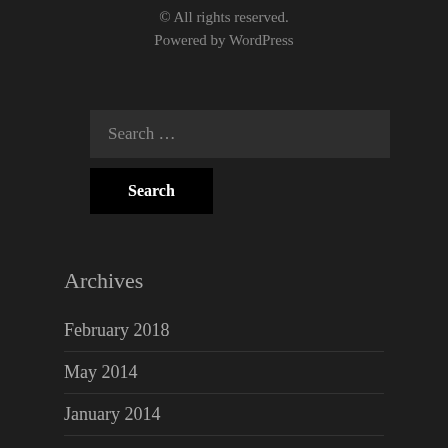© All rights reserved.
Powered by WordPress
Search …
Archives
February 2018
May 2014
January 2014
July 2013
January 2013
September 2012